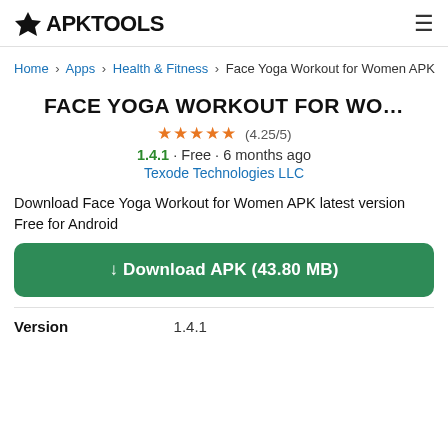APKTOOLS
Home › Apps › Health & Fitness › Face Yoga Workout for Women APK
FACE YOGA WORKOUT FOR WO…
★★★★★ (4.25/5)
1.4.1 · Free · 6 months ago
Texode Technologies LLC
Download Face Yoga Workout for Women APK latest version Free for Android
↓ Download APK (43.80 MB)
| Version |  |
| --- | --- |
| Version | 1.4.1 |